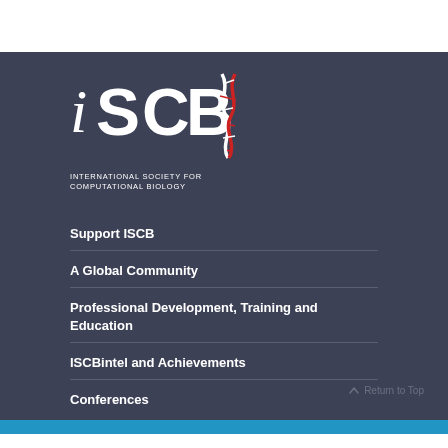[Figure (logo): ISCB logo - stylized text 'iSCB' with a red and white DNA double helix graphic, followed by text 'INTERNATIONAL SOCIETY FOR COMPUTATIONAL BIOLOGY' in white on dark background]
Support ISCB
A Global Community
Professional Development, Training and Education
ISCBintel and Achievements
Conferences
Return to Top